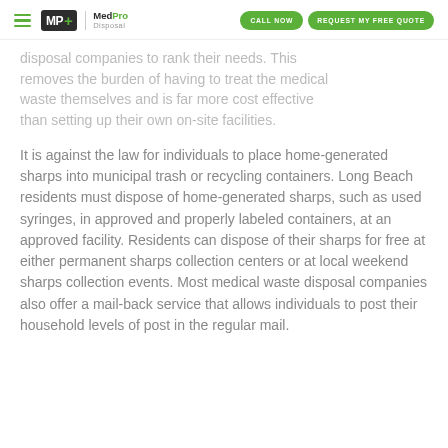MedPro Disposal | CALL NOW | REQUEST MY FREE QUOTE
disposal companies to rank their needs. This removes the burden of having to treat the medical waste themselves and is far more cost effective than setting up their own on-site facilities.
It is against the law for individuals to place home-generated sharps into municipal trash or recycling containers. Long Beach residents must dispose of home-generated sharps, such as used syringes, in approved and properly labeled containers, at an approved facility. Residents can dispose of their sharps for free at either permanent sharps collection centers or at local weekend sharps collection events. Most medical waste disposal companies also offer a mail-back service that allows individuals to post their household levels of post in the regular mail.